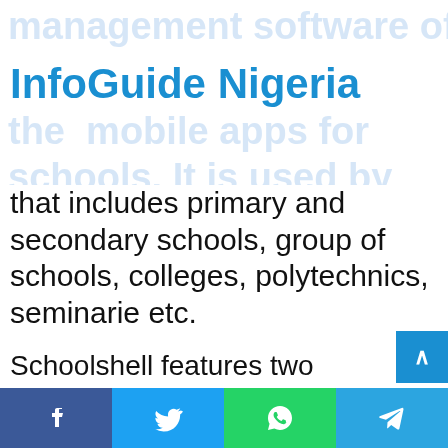InfoGuide Nigeria
management software offering one of the mobile apps for schools. It is used by several schools that includes primary and secondary schools, group of schools, colleges, polytechnics, seminarie etc.
Schoolshell features two outstanding solutions and they are shoolshell+ for higher instituitions and schoolshell+ reinventing schooling.
Key features of schoolshell+ for higher institutions:
Automates administration